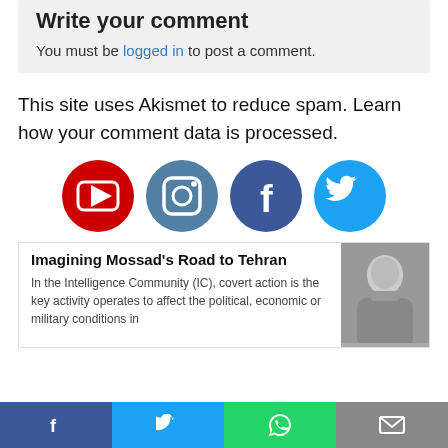Write your comment
You must be logged in to post a comment.
This site uses Akismet to reduce spam. Learn how your comment data is processed.
[Figure (infographic): Row of four social media icons: YouTube (red circle with play button), Instagram (slate blue circle with camera icon), Facebook (dark blue circle with f logo), Twitter (light blue circle with bird logo)]
Imagining Mossad's Road to Tehran
In the Intelligence Community (IC), covert action is the key activity operates to affect the political, economic or military conditions in
[Figure (photo): Black and white photo of a man in a suit sitting at a microphone]
Social share bar: Facebook, Twitter, WhatsApp, Email